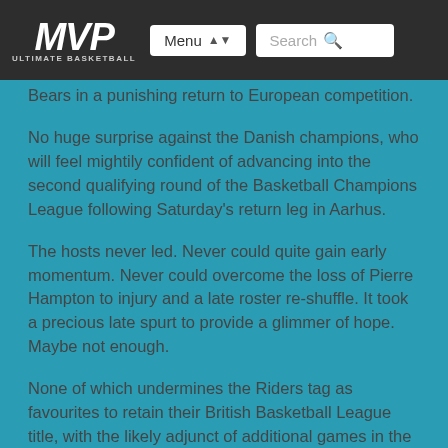MVP Ultimate Basketball | Menu | Search
Bears in a punishing return to European competition.
No huge surprise against the Danish champions, who will feel mightily confident of advancing into the second qualifying round of the Basketball Champions League following Saturday's return leg in Aarhus.
The hosts never led. Never could quite gain early momentum. Never could overcome the loss of Pierre Hampton to injury and a late roster re-shuffle. It took a precious late spurt to provide a glimmer of hope. Maybe not enough.
None of which undermines the Riders tag as favourites to retain their British Basketball League title, with the likely adjunct of additional games in the fourth-tier FIBA Europe Cup should they exit this competition.